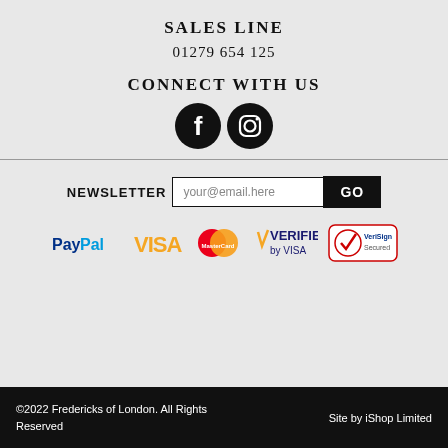SALES LINE
01279 654 125
CONNECT WITH US
[Figure (illustration): Facebook and Instagram social media icons (black circles with white logos)]
NEWSLETTER  your@email.here  GO
[Figure (logo): Payment logos: PayPal, VISA, MasterCard, Verified by VISA, VeriSign Secured]
©2022 Fredericks of London. All Rights Reserved  |  Site by iShop Limited